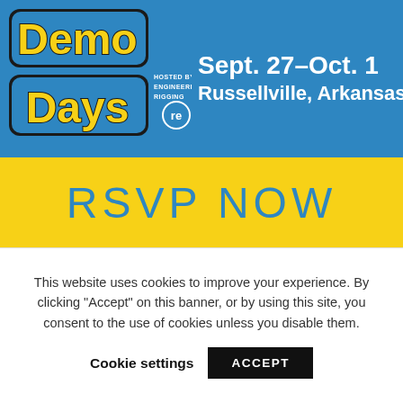[Figure (logo): Demo Days logo hosted by Engineered Rigging on a blue banner background with event dates Sept. 27-Oct. 1 and location Russellville, Arkansas]
RSVP NOW
[Figure (photo): Outdoor photo of rigging equipment against blue sky]
This website uses cookies to improve your experience. By clicking "Accept" on this banner, or by using this site, you consent to the use of cookies unless you disable them.
Cookie settings  ACCEPT